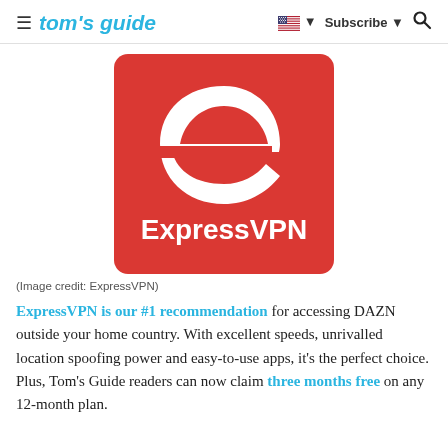≡ tom's guide   🇺🇸 ▼   Subscribe ▼   🔍
[Figure (logo): ExpressVPN logo: red square background with white stylized 'e' icon and 'ExpressVPN' text in white below]
(Image credit: ExpressVPN)
ExpressVPN is our #1 recommendation for accessing DAZN outside your home country. With excellent speeds, unrivalled location spoofing power and easy-to-use apps, it's the perfect choice. Plus, Tom's Guide readers can now claim three months free on any 12-month plan.